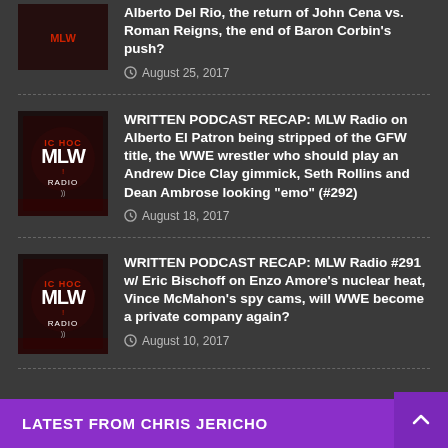Alberto Del Rio, the return of John Cena vs. Roman Reigns, the end of Baron Corbin's push?
August 25, 2017
[Figure (logo): MLW Radio logo thumbnail]
WRITTEN PODCAST RECAP: MLW Radio on Alberto El Patron being stripped of the GFW title, the WWE wrestler who should play an Andrew Dice Clay gimmick, Seth Rollins and Dean Ambrose looking "emo" (#292)
August 18, 2017
[Figure (logo): MLW Radio logo thumbnail]
WRITTEN PODCAST RECAP: MLW Radio #291 w/ Eric Bischoff on Enzo Amore's nuclear heat, Vince McMahon's spy cams, will WWE become a private company again?
August 10, 2017
LATEST FROM CHRIS JERICHO